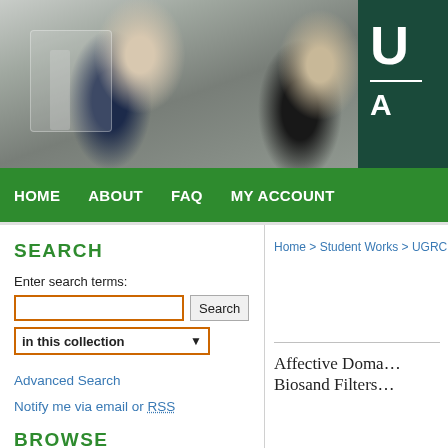[Figure (photo): Two university students working in a laboratory setting. A female student on the left is examining a device, and a male student on the right is looking at the camera. Dark teal panel on right with large white letters 'U' and 'A'.]
HOME   ABOUT   FAQ   MY ACCOUNT
SEARCH
Enter search terms:
in this collection
Advanced Search
Notify me via email or RSS
BROWSE
Home > Student Works > UGRC
Affective Doma... Biosand Filters...